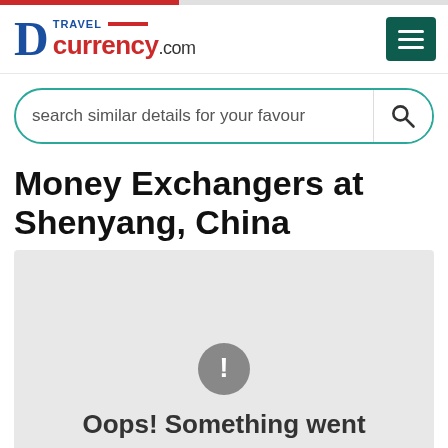D TRAVEL currency.com
search similar details for your favour
Money Exchangers at Shenyang, China
[Figure (map): Map area showing an error state with a grey background, exclamation mark icon, and text 'Oops! Something went']